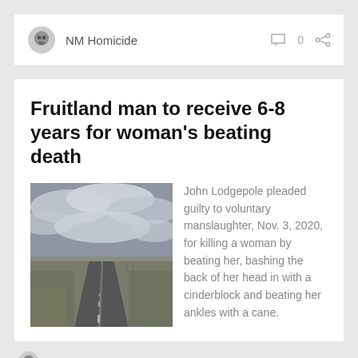NM Homicide
Fruitland man to receive 6-8 years for woman's beating death
[Figure (photo): Road stretching into the distance under a cloudy sky in a desert landscape]
John Lodgepole pleaded guilty to voluntary manslaughter, Nov. 3, 2020, for killing a woman by beating her, bashing the back of her head in with a cinderblock and beating her ankles with a cane.